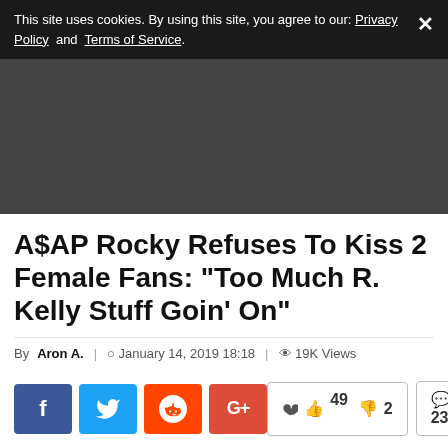This site uses cookies. By using this site, you agree to our: Privacy Policy and Terms of Service.
[Figure (other): Dark gray advertisement banner area]
A$AP Rocky Refuses To Kiss 2 Female Fans: "Too Much R. Kelly Stuff Goin' On"
By Aron A. | January 14, 2019 18:18 | 19K Views
[Figure (infographic): Social media sharing buttons (Facebook, Twitter, Reddit, Google+) and vote/comment counts (49 upvotes, 2 downvotes, 23 comments)]
A$AP Rocky Spotted Kissing Gorge